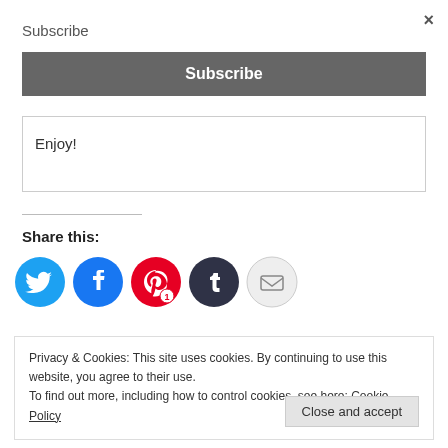Subscribe
×
Subscribe
Enjoy!
Share this:
[Figure (infographic): Social share icons: Twitter (blue circle with bird), Facebook (blue circle with f), Pinterest (red circle with P and count 1), Tumblr (dark circle with t), Email (light gray circle with envelope)]
Privacy & Cookies: This site uses cookies. By continuing to use this website, you agree to their use.
To find out more, including how to control cookies, see here: Cookie Policy
Close and accept